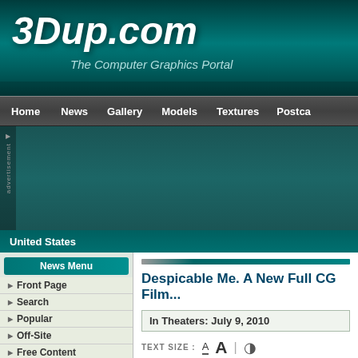3Dup.com - The Computer Graphics Portal
Home | News | Gallery | Models | Textures | Postca...
[Figure (screenshot): Advertisement banner area with dark teal background]
United States
News Menu
Front Page
Search
Popular
Off-Site
Free Content
My Visit
Options
Send
Print
PDF
Despicable Me. A New Full CG Film...
In Theaters: July 9, 2010
TEXT SIZE : A  A | (contrast icon)
In... w... a... th...